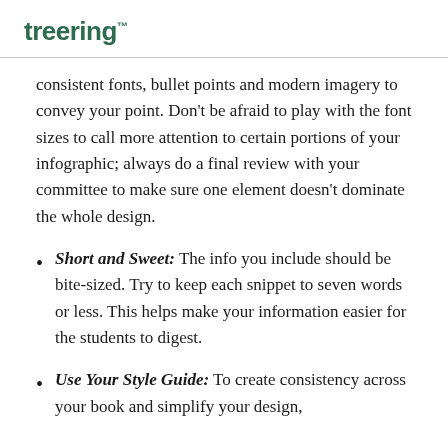treering
consistent fonts, bullet points and modern imagery to convey your point. Don't be afraid to play with the font sizes to call more attention to certain portions of your infographic; always do a final review with your committee to make sure one element doesn't dominate the whole design.
Short and Sweet: The info you include should be bite-sized. Try to keep each snippet to seven words or less. This helps make your information easier for the students to digest.
Use Your Style Guide: To create consistency across your book and simplify your design,